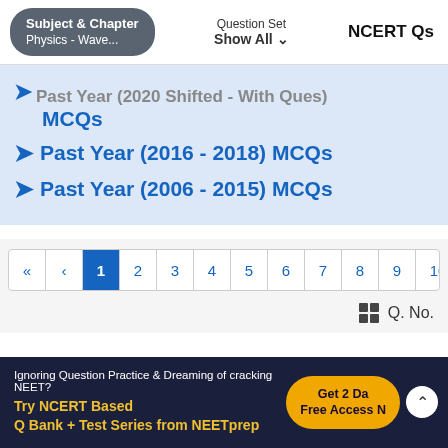Subject & Chapter: Physics - Wave... | Question Set: Show All | NCERT Qs
→ Past Year (2020 Shifted - With Ques) MCQs (partial, clipped at top)
→ Past Year (2016 - 2018) MCQs
→ Past Year (2006 - 2015) MCQs
Pagination: « ‹ 1 2 3 4 5 6 7 8 9 10 ...
Q. No.
Ignoring Question Practice & Dreaming of cracking NEET? Try NCERT Based Q Bank + Test Series from NEETprep | Get 2 Days Free Access Now